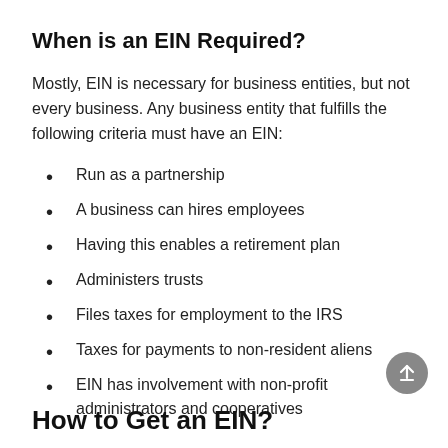When is an EIN Required?
Mostly, EIN is necessary for business entities, but not every business. Any business entity that fulfills the following criteria must have an EIN:
Run as a partnership
A business can hires employees
Having this enables a retirement plan
Administers trusts
Files taxes for employment to the IRS
Taxes for payments to non-resident aliens
EIN has involvement with non-profit administrators and cooperatives
How to Get an EIN?